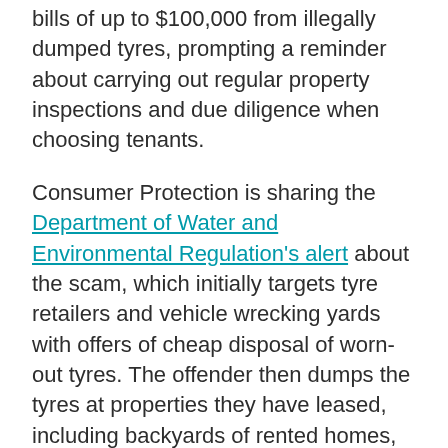bills of up to $100,000 from illegally dumped tyres, prompting a reminder about carrying out regular property inspections and due diligence when choosing tenants.
Consumer Protection is sharing the Department of Water and Environmental Regulation's alert about the scam, which initially targets tyre retailers and vehicle wrecking yards with offers of cheap disposal of worn-out tyres. The offender then dumps the tyres at properties they have leased, including backyards of rented homes, and later abandons the property.
The property owner is left with the problem – and cost – of disposing of the used tyres, which are considered an environmental pollution risk and are subject to controlled waste regulations. One location in Wungong